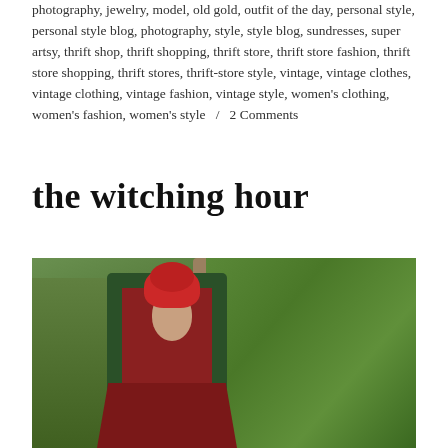photography, jewelry, model, old gold, outfit of the day, personal style, personal style blog, photography, style, style blog, sundresses, super artsy, thrift shop, thrift shopping, thrift store, thrift store fashion, thrift store shopping, thrift stores, thrift-store style, vintage, vintage clothes, vintage clothing, vintage fashion, vintage style, women's clothing, women's fashion, women's style  /  2 Comments
the witching hour
[Figure (photo): A woman with red hair wearing a dark green jacket over a red plaid outfit, standing outdoors in front of lush green foliage and a tree trunk.]